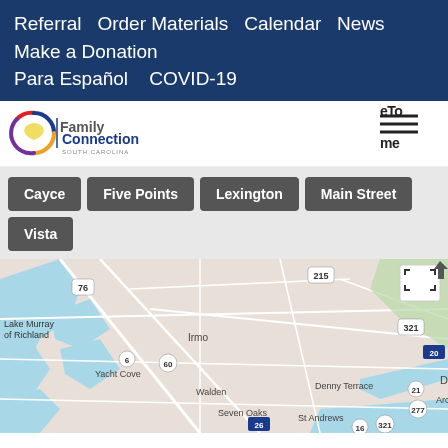Referral  Order Materials  Calendar  News  Make a Donation
Para Español   COVID-19
[Figure (logo): Family Connection South Carolina logo — multicolored circular swoosh with text 'Family Connection SOUTH CAROLINA']
[Figure (other): eTo... me... partial text/logo cropped at right edge]
Cayce
Five Points
Lexington
Main Street
Vista
[Figure (map): Google Maps style road map showing the Columbia, South Carolina area including Lake Murray of Richland, Irmo, Yacht Cove, Walden, Seven Oaks, St Andrews, Denny Terrace, and road numbers 76, 215, 321, 20, 21, 277, 6, 60, 26, 16. Blue water areas visible on left. A fullscreen icon button is visible in upper right of the map.]